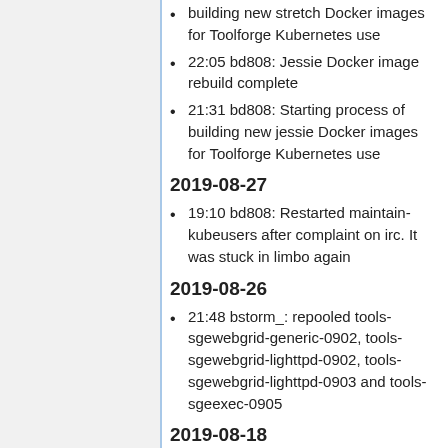building new stretch Docker images for Toolforge Kubernetes use
22:05 bd808: Jessie Docker image rebuild complete
21:31 bd808: Starting process of building new jessie Docker images for Toolforge Kubernetes use
2019-08-27
19:10 bd808: Restarted maintain-kubeusers after complaint on irc. It was stuck in limbo again
2019-08-26
21:48 bstorm_: repooled tools-sgewebgrid-generic-0902, tools-sgewebgrid-lighttpd-0902, tools-sgewebgrid-lighttpd-0903 and tools-sgeexec-0905
2019-08-18